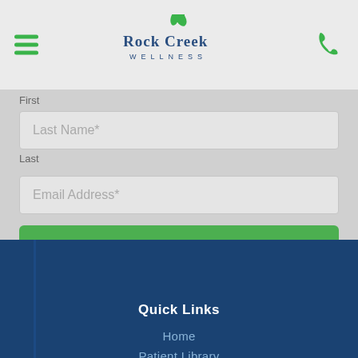[Figure (screenshot): Rock Creek Wellness website header with hamburger menu icon on left, Rock Creek Wellness logo in center, phone icon on right]
First Name* (input field, partially visible at top)
First
Last Name* (input field)
Last
Email Address* (input field)
Submit
Quick Links
Home
Patient Library
Privacy Policy